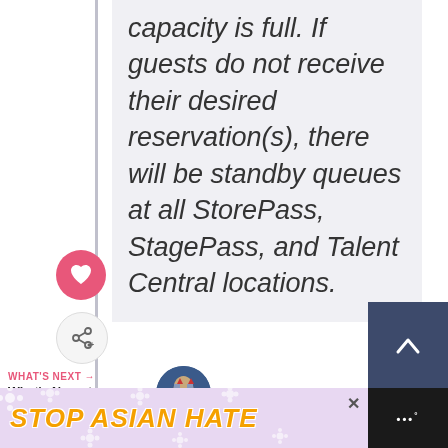capacity is full. If guests do not receive their desired reservation(s), there will be standby queues at all StorePass, StagePass, and Talent Central locations.
[Figure (other): Heart/like button (pink circle with heart icon) and share button (circle with share icon)]
[Figure (other): Scroll-to-top button (dark blue rectangle with up chevron)]
WHAT'S NEXT → What's New at Disneyland...
looking to shop, there's going to be plenty of spending
[Figure (other): STOP ASIAN HATE advertisement banner with floral design and illustrated character]